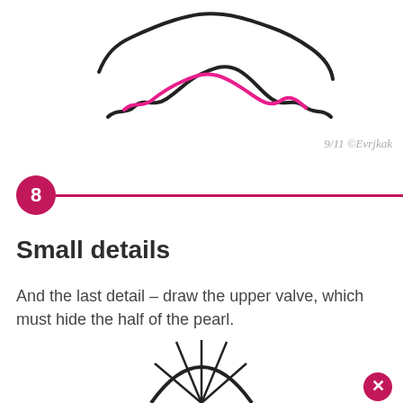[Figure (illustration): Drawing of a wavy shell/clam outline with a pink wavy inner line, shown from above, at the top of the page]
9/11 ©Evrjkak
[Figure (infographic): Step number 8 in a pink circle connected to a pink horizontal line extending to the right]
Small details
And the last detail – draw the upper valve, which must hide the half of the pearl.
[Figure (illustration): Partial drawing of a clamshell upper valve with radiating lines, shown at the bottom of the page, partially cut off]